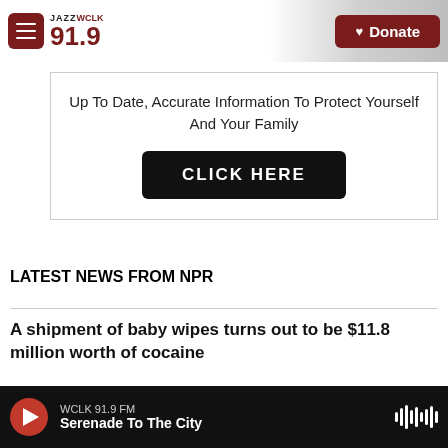JAZZ WCLK 91.9 | Donate
Up To Date, Accurate Information To Protect Yourself And Your Family
CLICK HERE
LATEST NEWS FROM NPR
A shipment of baby wipes turns out to be $11.8 million worth of cocaine
WCLK 91.9 FM | Serenade To The City